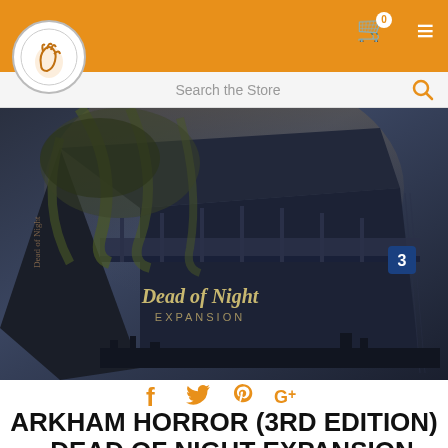Search the Store
[Figure (photo): Product box for Arkham Horror 3rd Edition Dead of Night Expansion — dark fantasy art showing a tentacled creature over a bridge city scene]
f ✦ ♥ ℗ G+
ARKHAM HORROR (3RD EDITION) - DEAD OF NIGHT EXPANSION